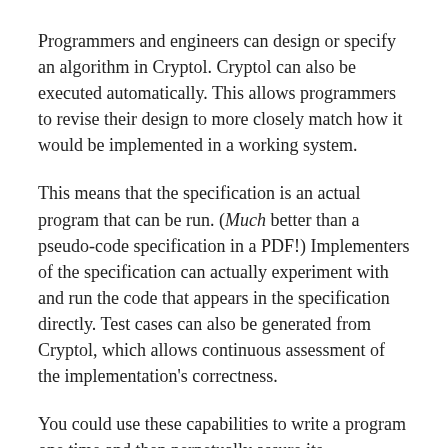Programmers and engineers can design or specify an algorithm in Cryptol. Cryptol can also be executed automatically. This allows programmers to revise their design to more closely match how it would be implemented in a working system.
This means that the specification is an actual program that can be run. (Much better than a pseudo-code specification in a PDF!) Implementers of the specification can actually experiment with and run the code that appears in the specification directly. Test cases can also be generated from Cryptol, which allows continuous assessment of the implementation's correctness.
You could use these capabilities to write a program one time and then perpetually assure its correctness.